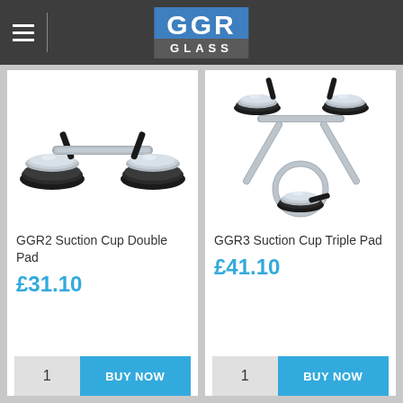[Figure (logo): GGR Glass logo with blue background showing 'GGR' in white bold text and 'GLASS' below on grey background]
[Figure (photo): GGR2 Suction Cup Double Pad - double pad suction cup tool with aluminium handle, black rubber suction pads on each end]
GGR2 Suction Cup Double Pad
£31.10
[Figure (photo): GGR3 Suction Cup Triple Pad - triple pad suction cup tool with three black rubber pads arranged in triangle formation with aluminium frame]
GGR3 Suction Cup Triple Pad
£41.10